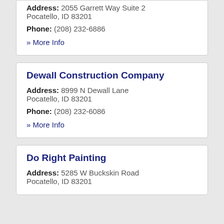Address: 2055 Garrett Way Suite 2 Pocatello, ID 83201
Phone: (208) 232-6886
» More Info
Dewall Construction Company
Address: 8999 N Dewall Lane Pocatello, ID 83201
Phone: (208) 232-6086
» More Info
Do Right Painting
Address: 5285 W Buckskin Road Pocatello, ID 83201